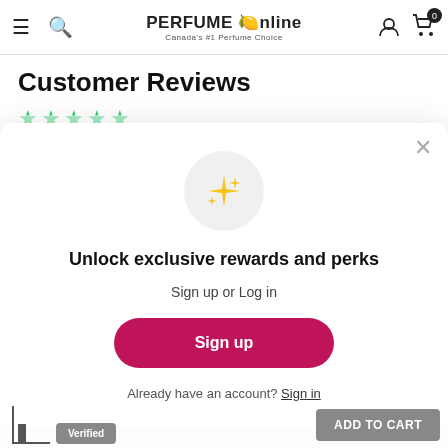PERFUME Online — Canada's #1 Perfume Choice
Customer Reviews
Based on 8 reviews
Write a review
[Figure (other): Sparkle/star emoji icon in a light grey circle, representing rewards]
Unlock exclusive rewards and perks
Sign up or Log in
Sign up
Already have an account? Sign in
Verified
ADD TO CART